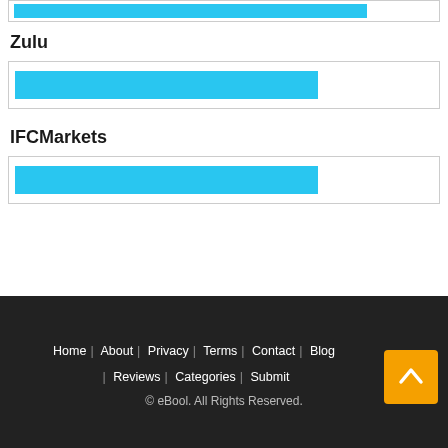[Figure (bar-chart): Horizontal bar for Zulu broker rating]
Zulu
[Figure (bar-chart): Horizontal bar for Zulu score]
IFCMarkets
[Figure (bar-chart): Horizontal bar for IFCMarkets score]
Home | About | Privacy | Terms | Contact | Blog | Reviews | Categories | Submit © eBool. All Rights Reserved.